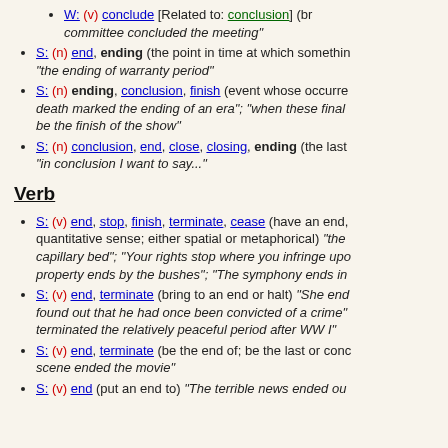W: (v) conclude [Related to: conclusion] (bring to a close) "the committee concluded the meeting"
S: (n) end, ending (the point in time at which something ends) "the ending of warranty period"
S: (n) ending, conclusion, finish (event whose occurrence ends something) "death marked the ending of an era"; "when these final episodes will be the finish of the show"
S: (n) conclusion, end, close, closing, ending (the last section of a communication) "in conclusion I want to say..."
Verb
S: (v) end, stop, finish, terminate, cease (have an end, in a temporal, spatial, or quantitative sense; either spatial or metaphorical) "the... capillary bed"; "Your rights stop where you infringe upo... property ends by the bushes"; "The symphony ends in..."
S: (v) end, terminate (bring to an end or halt) "She end... found out that he had once been convicted of a crime"... terminated the relatively peaceful period after WW I"
S: (v) end, terminate (be the end of; be the last or conc... scene ended the movie"
S: (v) end (put an end to) "The terrible news ended ou..."